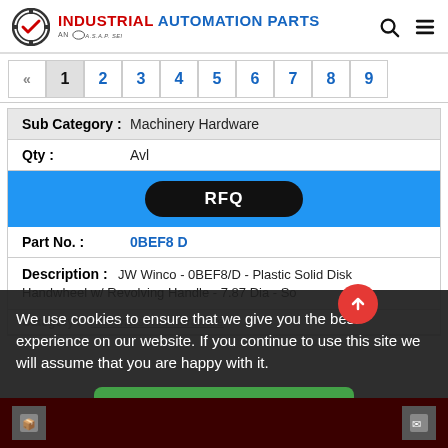[Figure (logo): Industrial Automation Parts logo with gear/checkmark icon and ASAP Semiconductor tagline]
« 1 2 3 4 5 6 7 8 9
| Sub Category : | Machinery Hardware |
| Qty : | Avl |
| RFQ |  |
| Part No. : | 0BEF8 D |
| Description : | JW Winco - 0BEF8/D - Plastic Solid Disk Handwheel w/ Revolving Handle - 7.87 Dia - So |
| Category : | Fasteners And Hardware |
We use cookies to ensure that we give you the best experience on our website. If you continue to use this site we will assume that you are happy with it.
Yes, I Accept Cookies.